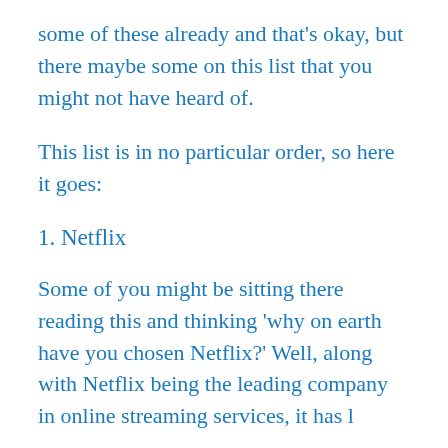some of these already and that's okay, but there maybe some on this list that you might not have heard of.
This list is in no particular order, so here it goes:
1. Netflix
Some of you might be sitting there reading this and thinking 'why on earth have you chosen Netflix?' Well, along with Netflix being the leading company in online streaming services, it has l